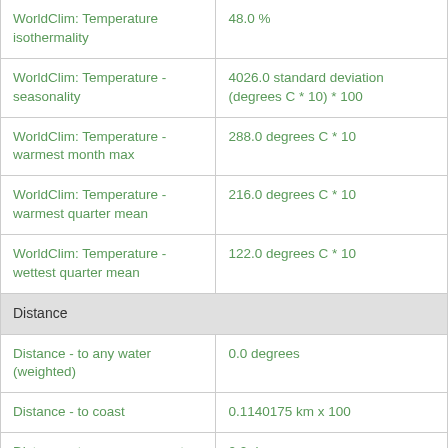| Feature | Value |
| --- | --- |
| WorldClim: Temperature isothermality | 48.0 % |
| WorldClim: Temperature - seasonality | 4026.0 standard deviation (degrees C * 10) * 100 |
| WorldClim: Temperature - warmest month max | 288.0 degrees C * 10 |
| WorldClim: Temperature - warmest quarter mean | 216.0 degrees C * 10 |
| WorldClim: Temperature - wettest quarter mean | 122.0 degrees C * 10 |
| Distance |  |
| Distance - to any water (weighted) | 0.0 degrees |
| Distance - to coast | 0.1140175 km x 100 |
| Distance - to non-permanent water (weighted) | 0.0 degrees |
| Distance - to permanent water (weighted) | 0.070710674 km |